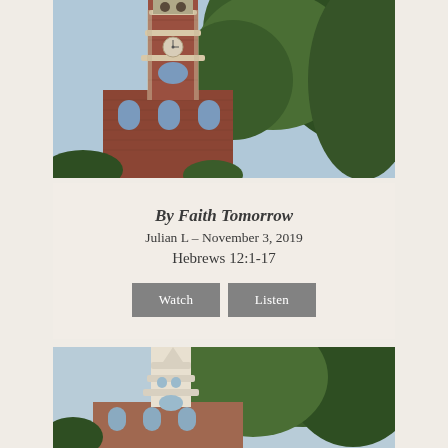[Figure (photo): Photograph of a historic brick church tower with clock, surrounded by green trees against a blue sky]
By Faith Tomorrow
Julian L – November 3, 2019
Hebrews 12:1-17
[Figure (screenshot): Watch and Listen buttons]
[Figure (photo): Photograph of a white-steepled church tower with trees against a blue sky]